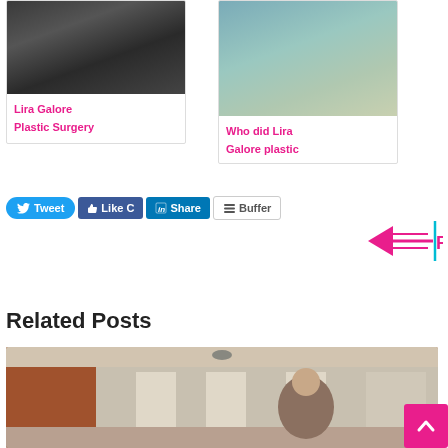[Figure (photo): Card image showing two people outdoors in dark clothing]
Lira Galore Plastic Surgery
[Figure (photo): Card image showing a woman in a hallway corridor]
Who did Lira Galore plastic
[Figure (other): Social sharing buttons: Tweet, Like, Share, Buffer with pink arrow annotation pointing left]
Related Posts
[Figure (photo): Related post photo showing a woman smiling in a brick building hallway]